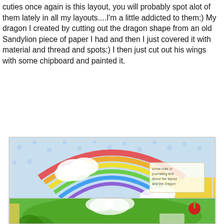cuties once again is this layout, you will probably spot alot of them lately in all my layouts....I'm a little addicted to them:) My dragon I created by cutting out the dragon shape from an old Sandylion piece of paper I had and then I just covered it with material and thread and spots:) I then just cut out his wings with some chipboard and painted it.
[Figure (photo): Colorful scrapbook layout page titled 'puff the magic dragon' featuring photos of a baby/toddler in a dragon costume, with decorative elements including clouds, rainbow, dragon cutouts, flowers, crowns, and mixed media embellishments on a bright patterned background.]
[Figure (photo): Partial view / cropped bottom section of a colorful scrapbook layout showing green dragon costume details, decorative elements, clouds and embellishments.]